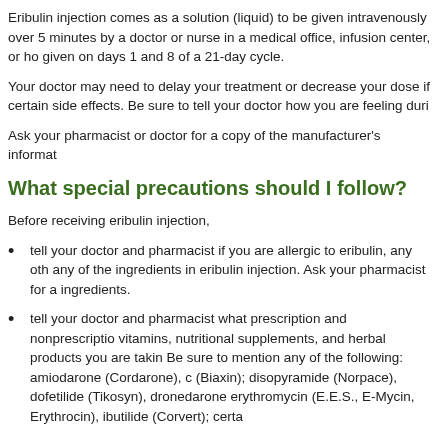Eribulin injection comes as a solution (liquid) to be given intravenously over 5 minutes by a doctor or nurse in a medical office, infusion center, or ho... given on days 1 and 8 of a 21-day cycle.
Your doctor may need to delay your treatment or decrease your dose if certain side effects. Be sure to tell your doctor how you are feeling duri...
Ask your pharmacist or doctor for a copy of the manufacturer's informat...
What special precautions should I follow?
Before receiving eribulin injection,
tell your doctor and pharmacist if you are allergic to eribulin, any oth... any of the ingredients in eribulin injection. Ask your pharmacist for a... ingredients.
tell your doctor and pharmacist what prescription and nonprescriptio... vitamins, nutritional supplements, and herbal products you are takin... Be sure to mention any of the following: amiodarone (Cordarone), c (Biaxin); disopyramide (Norpace), dofetilide (Tikosyn), dronedarone... erythromycin (E.E.S., E-Mycin, Erythrocin), ibutilide (Corvert); certa...